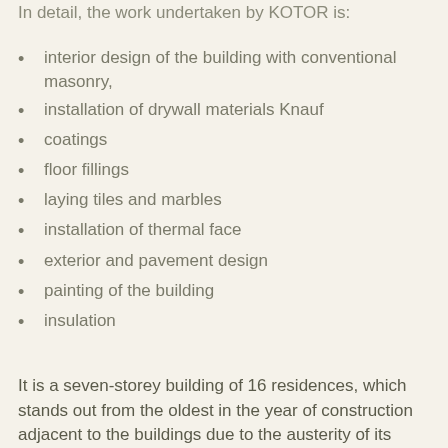In detail, the work undertaken by KOTOR is:
interior design of the building with conventional masonry,
installation of drywall materials Knauf
coatings
floor fillings
laying tiles and marbles
installation of thermal face
exterior and pavement design
painting of the building
insulation
It is a seven-storey building of 16 residences, which stands out from the oldest in the year of construction adjacent to the buildings due to the austerity of its architecture and also to the fact that it was constructed